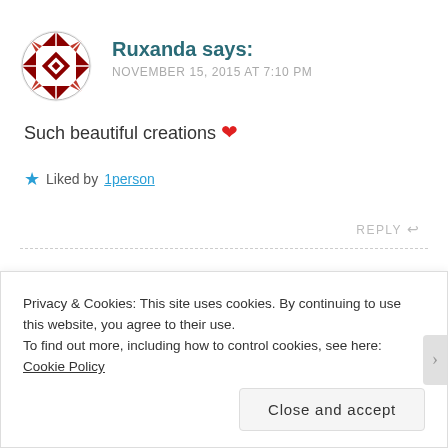[Figure (logo): Red and white geometric quilt-pattern avatar icon for user Ruxanda]
Ruxanda says:
NOVEMBER 15, 2015 AT 7:10 PM
Such beautiful creations ❤
★ Liked by 1person
REPLY ↩
Privacy & Cookies: This site uses cookies. By continuing to use this website, you agree to their use.
To find out more, including how to control cookies, see here: Cookie Policy
Close and accept